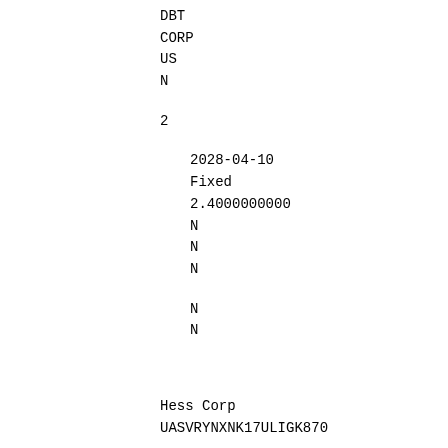DBT
CORP
US
N
2
2028-04-10
Fixed
2.4000000000
N
N
N
N
N
Hess Corp
UASVRYNXNK17ULIGK870
42809HAG2
700000.0000000000
PA